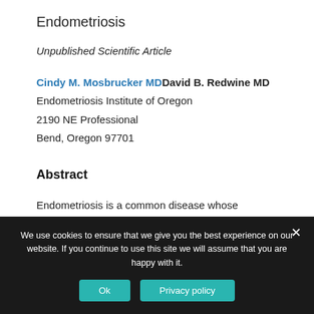Endometriosis
Unpublished Scientific Article
Cindy M. Mosbrucker MDDavid B. Redwine MD
Endometriosis Institute of Oregon
2190 NE Professional
Bend, Oregon 97701
Abstract
Endometriosis is a common disease whose treatment consumes a substantial amount of health care resources.
We use cookies to ensure that we give you the best experience on our website. If you continue to use this site we will assume that you are happy with it.